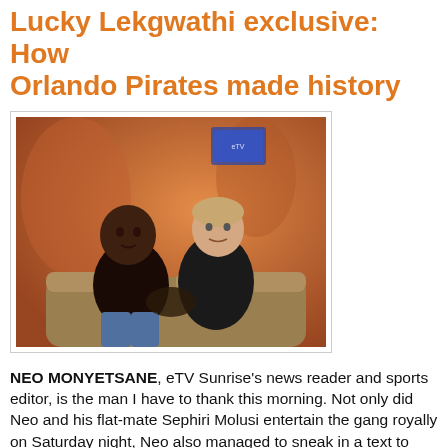Lucky Lekgwathi exclusive: How Orlando Pirates made history
[Figure (photo): Two people seated on a couch in a TV studio setting with orange/warm background lighting. One person is a Black man in a dark top and jeans, the other appears to be a lighter-skinned person in dark clothing.]
NEO MONYETSANE, eTV Sunrise's news reader and sports editor, is the man I have to thank this morning. Not only did Neo and his flat-mate Sephiri Molusi entertain the gang royally on Saturday night, Neo also managed to sneak in a text to Orlando Pirates between their epic title defence and Chelsea's streaky Champions League win. As a result, when I turned up to do Classic Play in the pre-